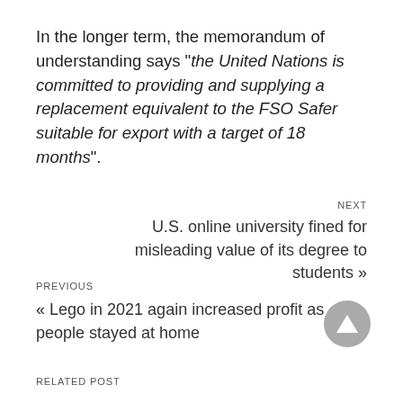In the longer term, the memorandum of understanding says "the United Nations is committed to providing and supplying a replacement equivalent to the FSO Safer suitable for export with a target of 18 months".
NEXT
U.S. online university fined for misleading value of its degree to students »
PREVIOUS
« Lego in 2021 again increased profit as people stayed at home
RELATED POST